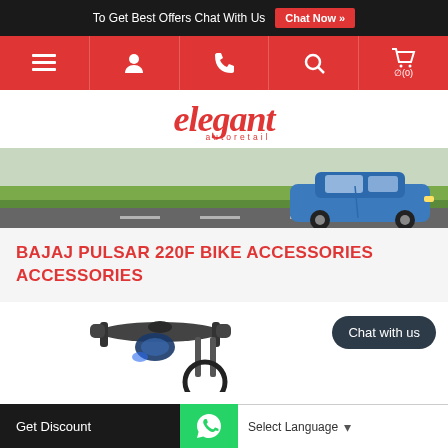To Get Best Offers Chat With Us  Chat Now »
[Figure (screenshot): Red navigation bar with menu, user, phone, search, and cart icons]
[Figure (logo): elegant autoretail logo in red italic text]
[Figure (photo): Hero banner showing a blue car on a road with green fields]
BAJAJ PULSAR 220F BIKE ACCESSORIES ACCESSORIES
[Figure (photo): Partial image of a motorcycle handlebar/front]
Chat with us
Get Discount  [WhatsApp icon]  Select Language